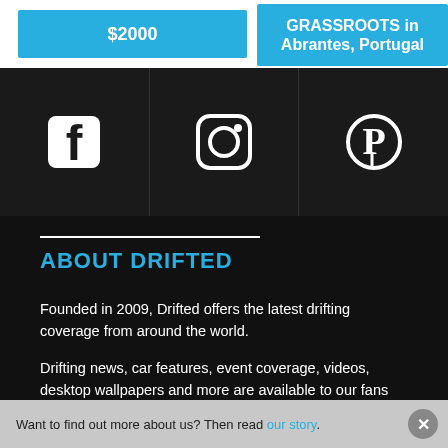[Figure (screenshot): Top navigation bar with two blue buttons: '$2000' on the left and 'GRASSROOTS in Abrantes, Portugal' on the right]
[Figure (infographic): Social media icons bar on dark background: Facebook, Instagram, Pinterest icons in white]
ABOUT DRIFTED
Founded in 2009, Drifted offers the latest drifting coverage from around the world.
Drifting news, car features, event coverage, videos, desktop wallpapers and more are available to our fans for free.
Want to find out more about us? Then read our story.